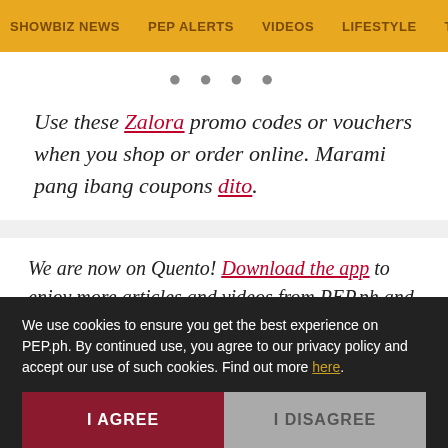SHOWBIZ NEWS   PEP ALERTS   VIDEOS   LIFESTYLE   TV & MOV
• • • •
Use these Zalora promo codes or vouchers when you shop or order online. Marami pang ibang coupons dito.
We are now on Quento! Download the app to enjoy more articles and videos from PEP.ph and other Summit Media websites.
Read on App
We use cookies to ensure you get the best experience on PEP.ph. By continued use, you agree to our privacy policy and accept our use of such cookies. Find out more here.
I AGREE
I DISAGREE